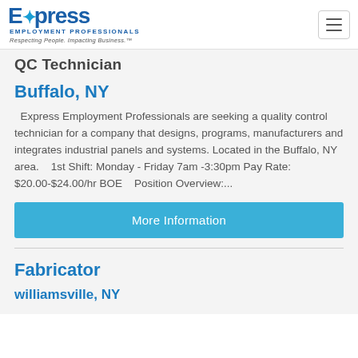Express Employment Professionals — Respecting People. Impacting Business.
QC Technician
Buffalo, NY
Express Employment Professionals are seeking a quality control technician for a company that designs, programs, manufacturers and integrates industrial panels and systems. Located in the Buffalo, NY area.   1st Shift: Monday - Friday 7am -3:30pm Pay Rate: $20.00-$24.00/hr BOE   Position Overview:...
More Information
Fabricator
williamsville, NY